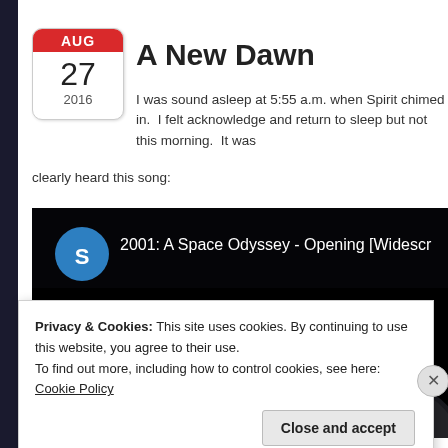A New Dawn
I was sound asleep at 5:55 a.m. when Spirit chimed in.  I felt acknowledge and return to sleep but not this morning.  It was clearly heard this song:
[Figure (screenshot): YouTube video thumbnail for '2001: A Space Odyssey - Opening [Widescr...' showing a space scene with a planet and glowing light, with a blue circle avatar with letter S]
Privacy & Cookies: This site uses cookies. By continuing to use this website, you agree to their use.
To find out more, including how to control cookies, see here: Cookie Policy
Close and accept